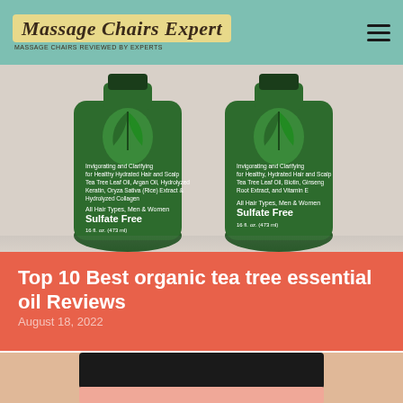Massage Chairs Expert
[Figure (photo): Two green bottles of tea tree hair care products labeled Sulfate Free, Invigorating and Clarifying for Healthy Hydrated Hair and Scalp, All Hair Types Men & Women, 16 fl oz (473ml)]
Top 10 Best organic tea tree essential oil Reviews
August 18, 2022
[Figure (photo): Partial view of a person wearing a black top and pink bottom, showing their midsection/torso area]